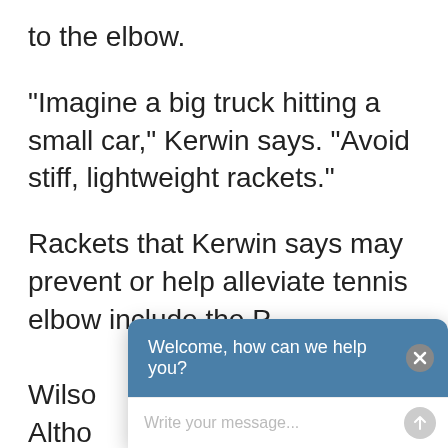to the elbow.
"Imagine a big truck hitting a small car," Kerwin says. "Avoid stiff, lightweight rackets."
Rackets that Kerwin says may prevent or help alleviate tennis elbow include the P[...] Wilso[...] Altho[...] expe[...]
Another tip is to use a larger grip so you
[Figure (screenshot): A chat widget overlay with a teal/blue header reading 'Welcome, how can we help you?' and a close (X) button on the right. Below is a white input area with placeholder text 'Write your message...' and a grey circular send button.]